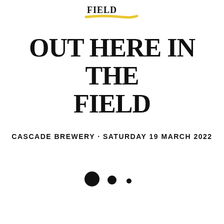[Figure (logo): Partial logo at top center with yellow/gold underline brush stroke]
OUT HERE IN THE FIELD
CASCADE BREWERY - SATURDAY 19 MARCH 2022
[Figure (illustration): Three dots of decreasing size arranged horizontally]